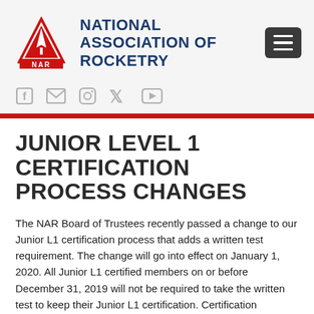[Figure (logo): NAR red triangle rocket logo with 'NAR' text at bottom]
NATIONAL ASSOCIATION OF ROCKETRY
[Figure (other): Hamburger menu button (three horizontal lines on dark background)]
[Figure (other): Social media icons: Facebook, Email, Instagram, Twitter, YouTube]
JUNIOR LEVEL 1 CERTIFICATION PROCESS CHANGES
The NAR Board of Trustees recently passed a change to our Junior L1 certification process that adds a written test requirement. The change will go into effect on January 1, 2020. All Junior L1 certified members on or before December 31, 2019 will not be required to take the written test to keep their Junior L1 certification. Certification paperwork without the accompanying test certification completed after that date will be returned as incomplete.